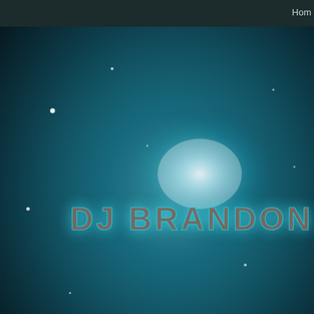Home
[Figure (illustration): DJ Brandon website hero banner: dark teal/navy starfield background with glowing light burst in the center. Text 'DJ BRANDON' in stylized gray/brown block letters with teal glow effect.]
Club House Mixes ▼   Global Tran
Posted in Fall 2016 Club House
Fall Club House Mix